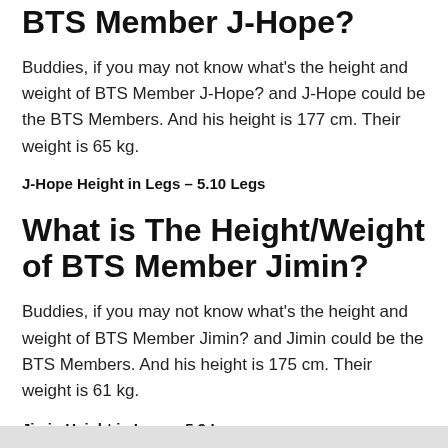BTS Member J-Hope?
Buddies, if you may not know what's the height and weight of BTS Member J-Hope? and J-Hope could be the BTS Members. And his height is 177 cm. Their weight is 65 kg.
J-Hope Height in Legs – 5.10 Legs
What is The Height/Weight of BTS Member Jimin?
Buddies, if you may not know what's the height and weight of BTS Member Jimin? and Jimin could be the BTS Members. And his height is 175 cm. Their weight is 61 kg.
Jimin Height in Legs – 5.9 Legs